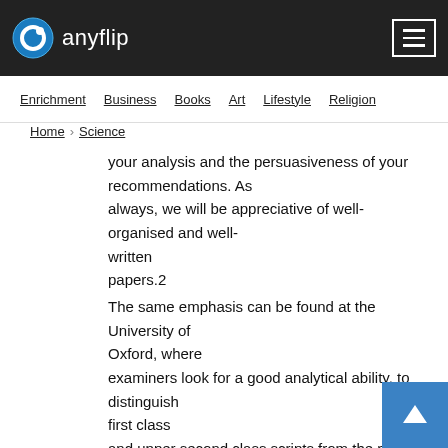anyflip
Enrichment  Business  Books  Art  Lifestyle  Religion
Home > Science
your analysis and the persuasiveness of your recommendations. As always, we will be appreciative of well-organised and well-written papers.2
The same emphasis can be found at the University of Oxford, where examiners look for a good analytical ability, to distinguish first class and upper second class scripts from the rest. In the marking criteria it's only in these two grades that any mention is made of analytical ability, with those failing to display it more likely to end up with lower